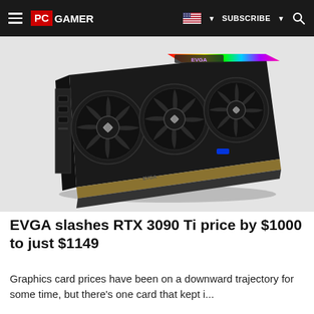PC GAMER | SUBSCRIBE | Search
[Figure (photo): EVGA GeForce RTX 3090 Ti graphics card with three fans and RGB lighting strip on top, shown at an angle]
EVGA slashes RTX 3090 Ti price by $1000 to just $1149
Graphics card prices have been on a downward trajectory for some time, but there's one card that kept i...